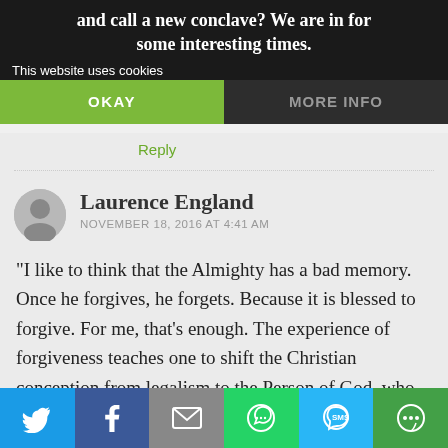and call a new conclave? We are in for some interesting times.
This website uses cookies
OKAY
MORE INFO
Reply
Laurence England
NOVEMBER 18, 2016 AT 4:41 AM
“I like to think that the Almighty has a bad memory. Once he forgives, he forgets. Because it is blessed to forgive. For me, that’s enough. The experience of forgiveness teaches one to shift the Christian conception from legalism to the Person of God, who
[Figure (infographic): Social share bar with Twitter, Facebook, email, WhatsApp, SMS, and more icons]